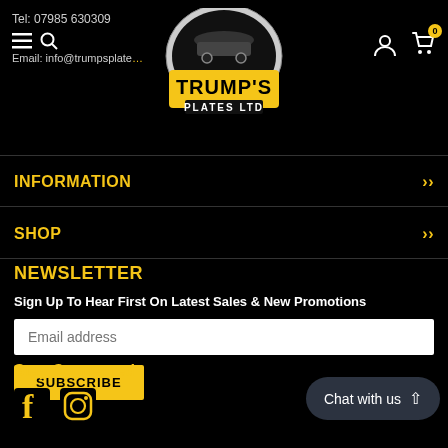Tel: 07985 630309 | Email: info@trumpsplate... | Trump's Plates Ltd
INFORMATION
SHOP
NEWSLETTER
Sign Up To Hear First On Latest Sales & New Promotions
Email address
SUBSCRIBE
Stay Connected
Chat with us